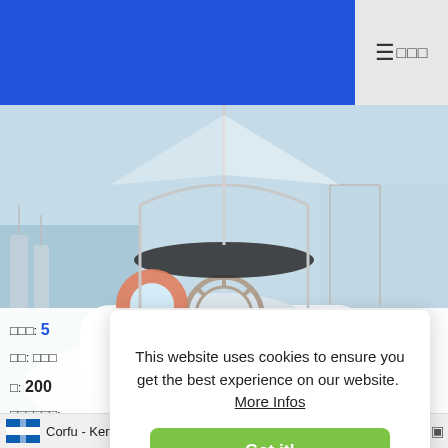☰ 0000
[Figure (photo): Aerial/stern view of a sailboat cockpit docked at a marina, showing a steering wheel, life preserver ring, teak deck, and surrounding boats. Watermark reads 'caribbeanpurple' or similar.]
This website uses cookies to ensure you get the best experience on our website.  More Infos
Got it!
□□□: 5
□□: □□□
□: 200
□□□□□□:
Corfu - Kerkyra   61_0_59432